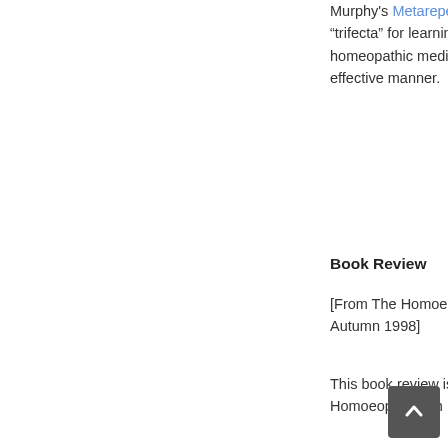Murphy's Metarepertory, provide a “trifecta” for learning how to use homeopathic medicines in the most effective manner.
Book Review
[From The Homoeopath – Number 71 Autumn 1998]
This book review is reprinted from The Homoeopath with